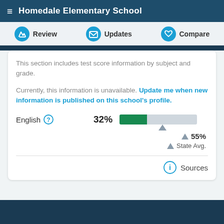Homedale Elementary School
Review   Updates   Compare
This section includes test score information by subject and grade.
Currently, this information is unavailable. Update me when new information is published on this school's profile.
[Figure (bar-chart): English]
State Avg.
Sources